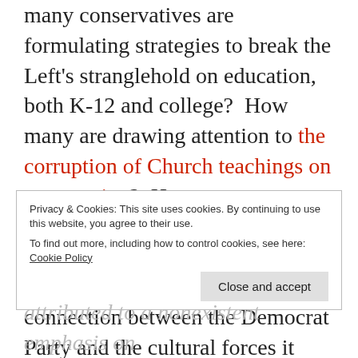many conservatives are formulating strategies to break the Left's stranglehold on education, both K-12 and college?  How many are drawing attention to the corruption of Church teachings on compassion?  How many on Capitol Hill are challenging the Left's poisonous sexual dogma, or publicly illustrating the connection between the Democrat Party and the cultural forces it cultivates and feeds upon?
Privacy & Cookies: This site uses cookies. By continuing to use this website, you agree to their use. To find out more, including how to control cookies, see here: Cookie Policy
attributed to a nonexistent emphasis on